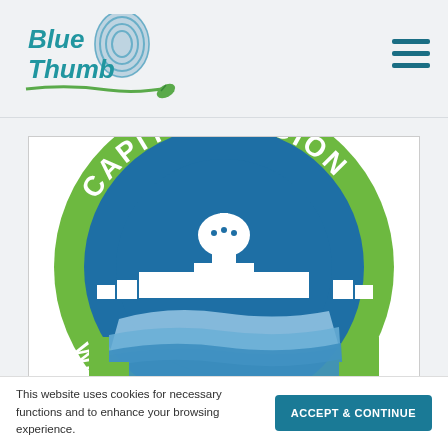[Figure (logo): Blue Thumb logo with fingerprint icon and green leaf, teal handwritten text]
[Figure (logo): Capitol Region Watershed District circular seal logo with green outer ring, blue inner circle, white capitol building skyline silhouette, and wave design at bottom]
This website uses cookies for necessary functions and to enhance your browsing experience.
ACCEPT & CONTINUE